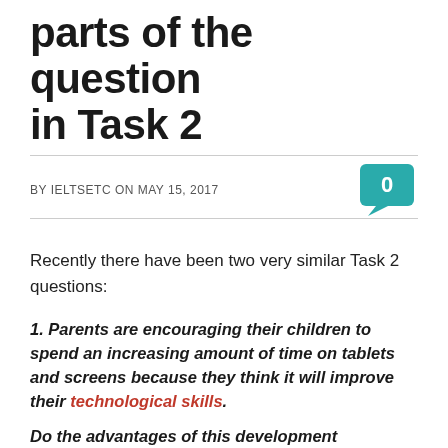parts of the question in Task 2
BY IELTSETC ON MAY 15, 2017
Recently there have been two very similar Task 2 questions:
1. Parents are encouraging their children to spend an increasing amount of time on tablets and screens because they think it will improve their technological skills.
Do the advantages of this development